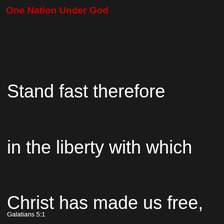One Nation Under God
Stand fast therefore in the liberty with which Christ has made us free, and be not entangled again with the yoke of bondage.
Galatians 5:1